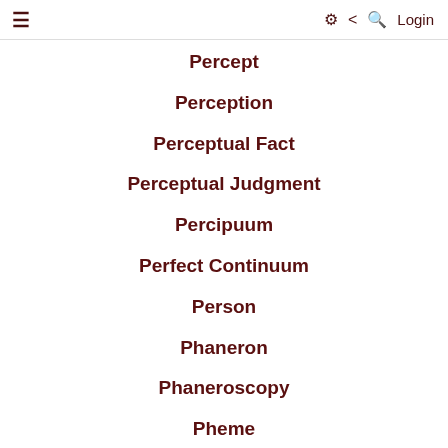≡   ⚙ < Q Login
Percept
Perception
Perceptual Fact
Perceptual Judgment
Percipuum
Perfect Continuum
Person
Phaneron
Phaneroscopy
Pheme